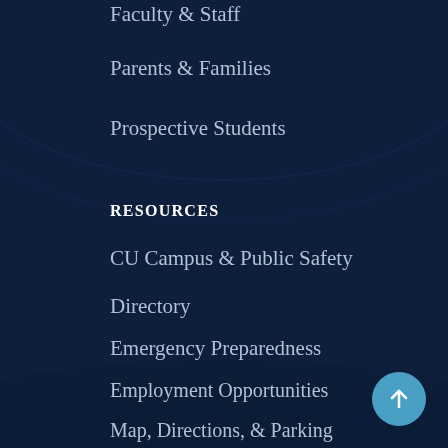Faculty & Staff
Parents & Families
Prospective Students
RESOURCES
CU Campus & Public Safety
Directory
Emergency Preparedness
Employment Opportunities
Map, Directions, & Parking
Policies
Resources Overview